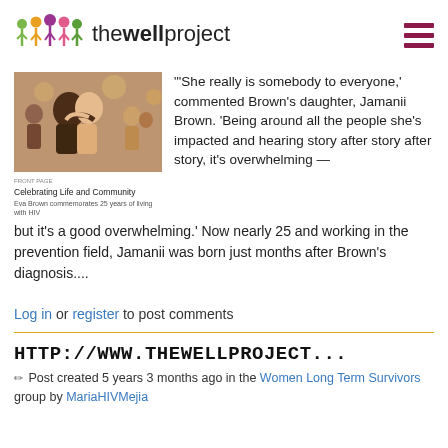the well project
[Figure (photo): Photo of people hugging at a community celebration event. Below the photo is a caption area reading 'Celebrating Life and Community' with a subtitle line.]
"'She really is somebody to everyone,' commented Brown's daughter, Jamanii Brown. 'Being around all the people she's impacted and hearing story after story after story, it's overwhelming — but it's a good overwhelming.' Now nearly 25 and working in the prevention field, Jamanii was born just months after Brown's diagnosis....
Log in or register to post comments
HTTP://WWW.THEWELLPROJECT...
Post created 5 years 3 months ago in the Women Long Term Survivors group by MariaHIVMejia